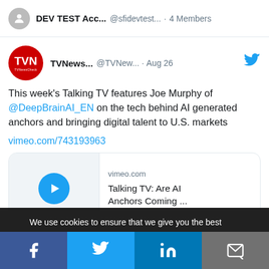DEV TEST Acc... @sfidevtest... · 4 Members
[Figure (screenshot): Tweet from TVNews... @TVNew... Aug 26 with Twitter bird icon. Text: This week's Talking TV features Joe Murphy of @DeepBrainAI_EN on the tech behind AI generated anchors and bringing digital talent to U.S. markets. Link: vimeo.com/743193963. Video card preview: vimeo.com / Talking TV: Are AI Anchors Coming ...]
We use cookies to ensure that we give you the best experience on our website. If you continue to use this site we will assume that you are happy with it.
Facebook | Twitter | LinkedIn | Email share buttons